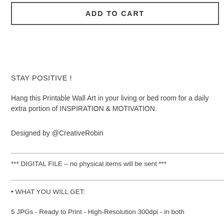ADD TO CART
STAY POSITIVE !
Hang this Printable Wall Art in your living or bed room for a daily extra portion of INSPIRATION & MOTIVATION.
Designed by @CreativeRobin
*** DIGITAL FILE – no physical items will be sent ***
• WHAT YOU WILL GET:
5 JPGs - Ready to Print - High-Resolution 300dpi - in both